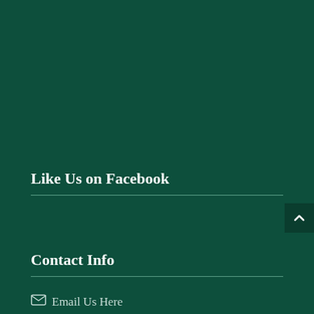Like Us on Facebook
Contact Info
Email Us Here